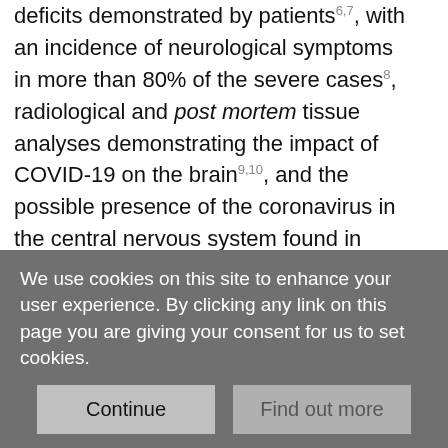deficits demonstrated by patients⁶,⁷, with an incidence of neurological symptoms in more than 80% of the severe cases⁸, radiological and post mortem tissue analyses demonstrating the impact of COVID-19 on the brain⁹,¹⁰, and the possible presence of the coronavirus in the central nervous system found in some studies¹¹–¹³.
In particular, one consistent clinical feature, which can appear before the onset of respiratory symptoms, is the disturbance in olfaction and gustation in COVID-19 patients¹⁴,¹⁵. In a recent study, 100% of the patients in the subacute stage of the disease were displaying signs of gustatory impairment (hypogeusia), and 86% either hyposmia or anosmia¹⁶. Such loss of sensory
We use cookies on this site to enhance your user experience. By clicking any link on this page you are giving your consent for us to set cookies.